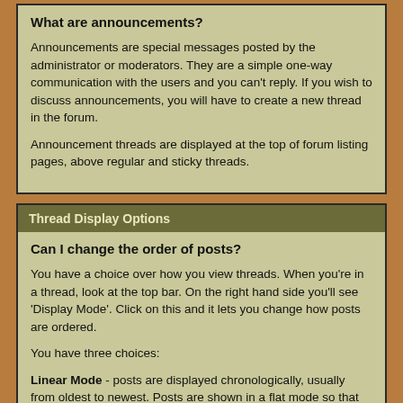What are announcements?
Announcements are special messages posted by the administrator or moderators. They are a simple one-way communication with the users and you can't reply. If you wish to discuss announcements, you will have to create a new thread in the forum.
Announcement threads are displayed at the top of forum listing pages, above regular and sticky threads.
Thread Display Options
Can I change the order of posts?
You have a choice over how you view threads. When you're in a thread, look at the top bar. On the right hand side you'll see 'Display Mode'. Click on this and it lets you change how posts are ordered.
You have three choices:
Linear Mode - posts are displayed chronologically, usually from oldest to newest. Posts are shown in a flat mode so that many posts can be viewed simultaneously. It is possible to change the ordering by changing your preferences in the User CP